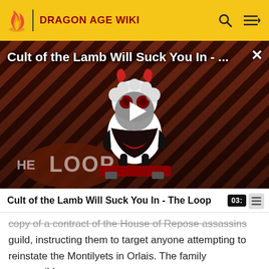DRAGON AGE WIKI
[Figure (screenshot): Video thumbnail for 'Cult of the Lamb Will Suck You In - The Loop' showing a cartoon lamb character on a red background with diagonal stripes, 'THE LOOP' text at bottom left, and a play button in the center.]
Cult of the Lamb Will Suck You In - The Loop
copy of a contract of the House of Repose assassins guild, instructing them to target anyone attempting to reinstate the Montilyets in Orlais. The family responsible, the Du Paraquettes, lost their noble status sixty years